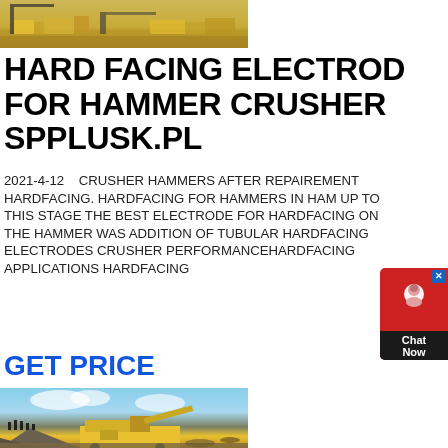[Figure (photo): Top photo showing yellow construction/mining machinery (crane or excavator) on a sandy/rocky site]
HARD FACING ELECTROD FOR HAMMER CRUSHER SPPLUSK.PL
2021-4-12    CRUSHER HAMMERS AFTER REPAIREMENT HARDFACING. HARDFACING FOR HAMMERS IN HAMMER UP TO THIS STAGE THE BEST ELECTRODE FOR HARDFACING ON THE HAMMER WAS ADDITION OF TUBULAR HARDFACING ELECTRODES CRUSHER PERFORMANCEHARDFACING APPLICATIONS HARDFACING
GET PRICE
[Figure (photo): Bottom photo showing a large yellow mobile crusher/screening machine on a rocky quarry site with people standing on a rock pile in the background under a cloudy sky]